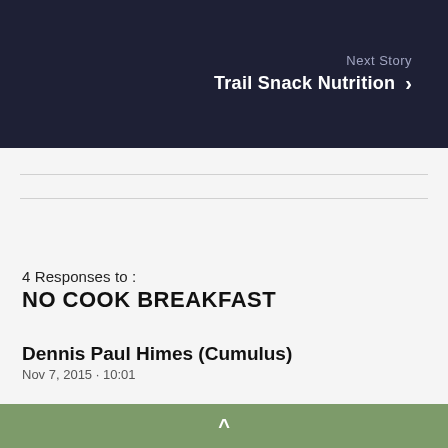[Figure (screenshot): Dark navy banner with 'Next Story' label and 'Trail Snack Nutrition' title with right arrow chevron]
4 Responses to :
NO COOK BREAKFAST
Dennis Paul Himes (Cumulus)
^